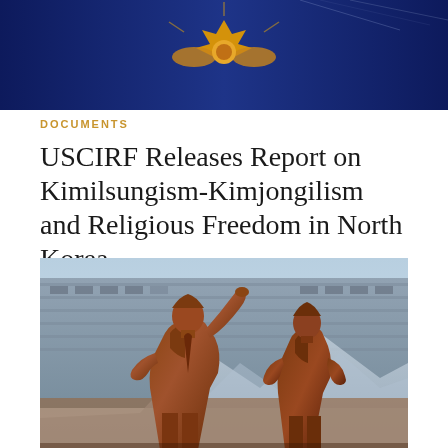[Figure (photo): USCIRF logo / header banner — dark blue background with gold emblem/crest visible at top]
DOCUMENTS
USCIRF Releases Report on Kimilsungism-Kimjongilism and Religious Freedom in North Korea
[Figure (photo): Bronze statues of Kim Il-sung and Kim Jong-il in Pyongyang, North Korea, with one figure raising arm, set against a building and mountain mural background]